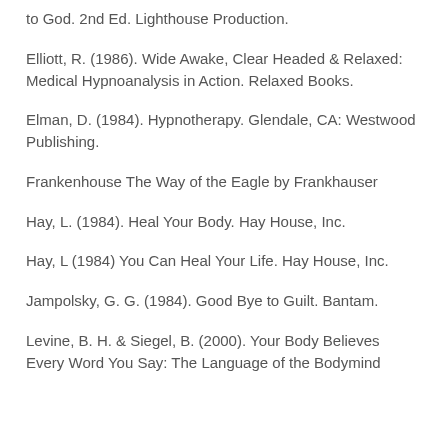to God. 2nd Ed. Lighthouse Production.
Elliott, R. (1986). Wide Awake, Clear Headed & Relaxed: Medical Hypnoanalysis in Action. Relaxed Books.
Elman, D. (1984). Hypnotherapy. Glendale, CA: Westwood Publishing.
Frankenhouse The Way of the Eagle by Frankhauser
Hay, L. (1984). Heal Your Body. Hay House, Inc.
Hay, L (1984) You Can Heal Your Life. Hay House, Inc.
Jampolsky, G. G. (1984). Good Bye to Guilt. Bantam.
Levine, B. H. & Siegel, B. (2000). Your Body Believes Every Word You Say: The Language of the Bodymind